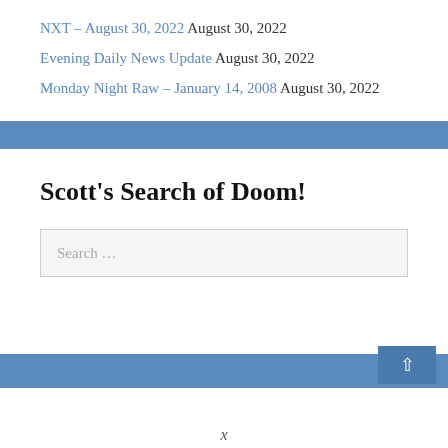NXT – August 30, 2022 August 30, 2022
Evening Daily News Update August 30, 2022
Monday Night Raw – January 14, 2008 August 30, 2022
Scott's Search of Doom!
Search …
x